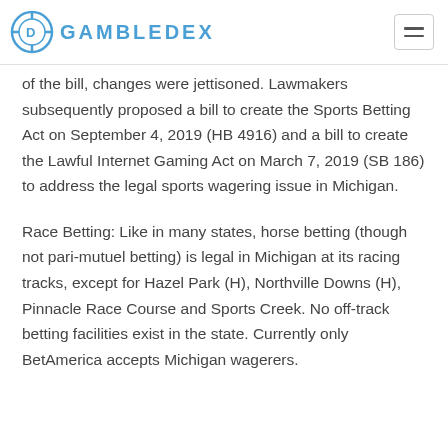GAMBLEDEX
of the bill, changes were jettisoned. Lawmakers subsequently proposed a bill to create the Sports Betting Act on September 4, 2019 (HB 4916) and a bill to create the Lawful Internet Gaming Act on March 7, 2019 (SB 186) to address the legal sports wagering issue in Michigan.
Race Betting: Like in many states, horse betting (though not pari-mutuel betting) is legal in Michigan at its racing tracks, except for Hazel Park (H), Northville Downs (H), Pinnacle Race Course and Sports Creek. No off-track betting facilities exist in the state. Currently only BetAmerica accepts Michigan wagerers.